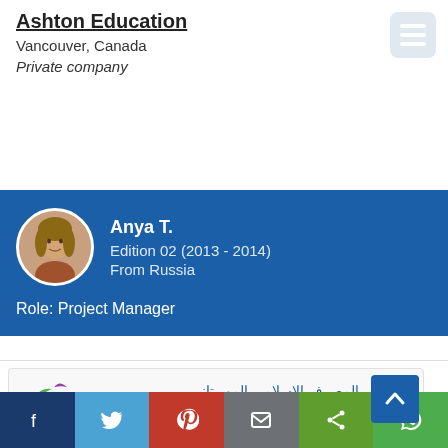Ashton Education
Vancouver, Canada
Private company
Anya T.
Edition 02 (2013 - 2014)
From Russia
Role: Project Manager
[Figure (logo): Banque Islamique de Mauritanie logo with Arabic text and colorful star-like symbol]
[Figure (infographic): Social media sharing bar with Facebook, Twitter, Pinterest, Email, Share, and WhatsApp buttons]